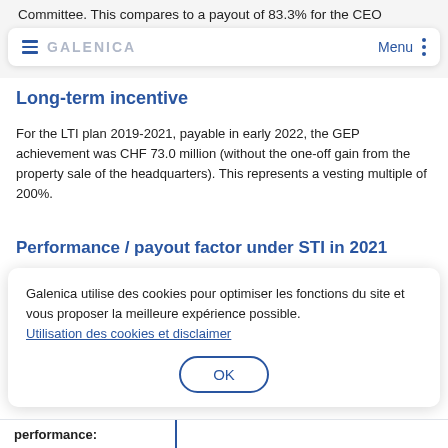Committee. This compares to a payout of 83.3% for the CEO
[Figure (screenshot): Galenica website navigation bar with hamburger menu icon, GALENICA brand name, Menu text and vertical dots icon]
Long-term incentive
For the LTI plan 2019-2021, payable in early 2022, the GEP achievement was CHF 73.0 million (without the one-off gain from the property sale of the headquarters). This represents a vesting multiple of 200%.
Performance / payout factor under STI in 2021
Galenica utilise des cookies pour optimiser les fonctions du site et vous proposer la meilleure expérience possible.
Utilisation des cookies et disclaimer
OK
performance: